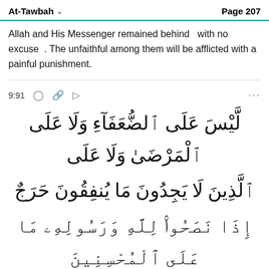At-Tawbah   Page 207
Allah and His Messenger remained behind   with no excuse  . The unfaithful among them will be afflicted with a painful punishment.
9:91
[Figure (other): Arabic Quran verse 9:91 in large Arabic script spanning four lines, followed by partial bottom line]
لَّيْسَ عَلَى ٱلضُّعَفَآءِ وَلَا عَلَى ٱلْمَرْضَىٰ وَلَا عَلَى ٱلَّذِينَ لَا يَجِدُونَ مَا يُنفِقُونَ حَرَجٌ إِذَا نَصَحُوا۟ لِلَّهِ وَرَسُولِهِۦ مَا عَلَى ٱلْمُحْسِنِينَ